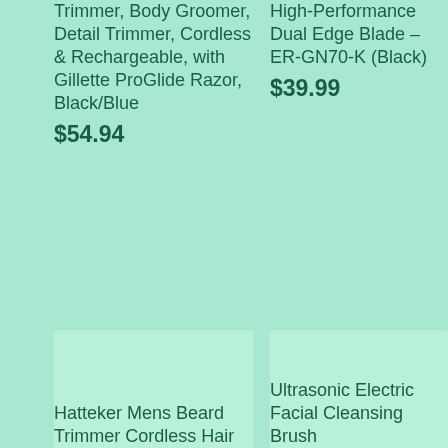Trimmer, Body Groomer, Detail Trimmer, Cordless & Rechargeable, with Gillette ProGlide Razor, Black/Blue $54.94
High-Performance Dual Edge Blade – ER-GN70-K (Black) $39.99
[Figure (photo): Product image placeholder for Hatteker Mens Beard Trimmer]
[Figure (photo): Product image placeholder for Ultrasonic Electric Facial Cleansing Brush]
Hatteker Mens Beard Trimmer Cordless Hair
Ultrasonic Electric Facial Cleansing Brush